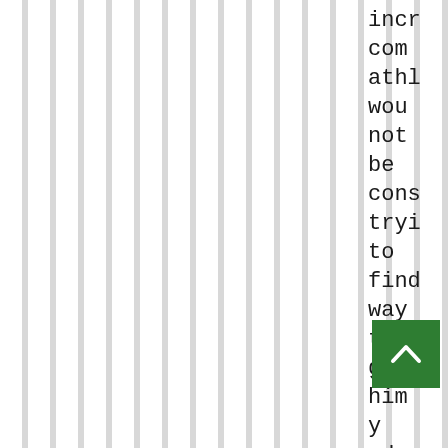incr com athl wou not be cons tryi to find way to give him y edge ava In fact
[Figure (other): Green scroll-to-top button with white upward chevron arrow]